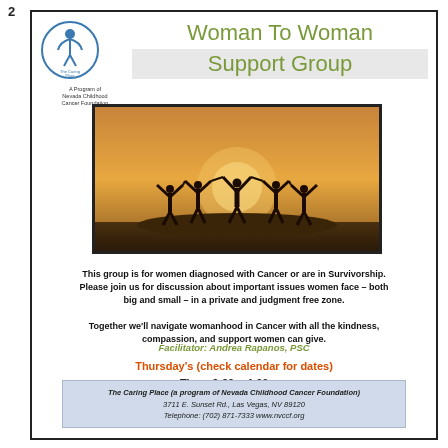2
[Figure (logo): The Caring Place logo — circular logo with figure, text 'The Caring Place for those combating cancer', below: 'A Program of Nevada Childhood Cancer Foundation']
Woman To Woman Support Group
[Figure (photo): Silhouette of five women with arms raised standing on a hilltop against a warm golden sunset sky]
This group is for women diagnosed with Cancer or are in Survivorship. Please join us for discussion about important issues women face – both big and small – in a private and judgment free zone. Together we'll navigate womanhood in Cancer with all the kindness, compassion, and support women can give.
Facilitator: Andrea Rapanos, PSC
Thursday's (check calendar for dates)
Time: 2:30 – 4:00 pm
The Caring Place (a program of Nevada Childhood Cancer Foundation) 3711 E. Sunset Rd., Las Vegas, NV 89120 Telephone: (702) 871-7333 www.nvccf.org